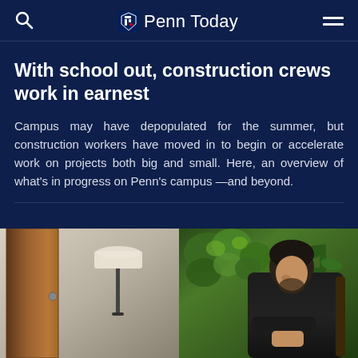Penn Today
With school out, construction crews work in earnest
Campus may have depopulated for the summer, but construction workers have moved in to begin or accelerate work on projects both big and small. Here, an overview of what’s in progress on Penn’s campus —and beyond.
[Figure (photo): A person with dark hair in a dark jacket sitting in a chair, photographed in an interior setting with a floor lamp on the left and green foliage on the right.]